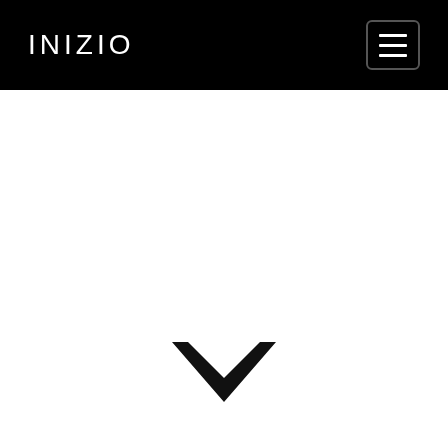INIZIO
[Figure (illustration): Downward chevron/caret icon in black on white background, centered in the lower portion of the page]